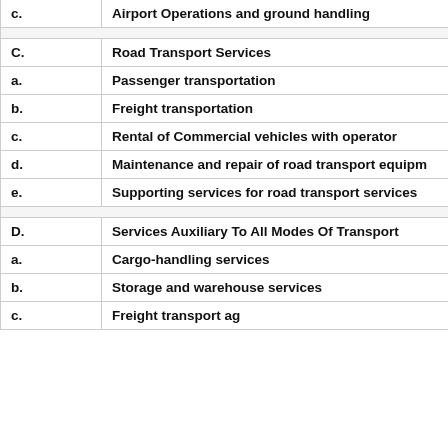| Label | Service |
| --- | --- |
| c. | Airport Operations and ground handling |
|  |  |
| C. | Road Transport Services |
| a. | Passenger transportation |
| b. | Freight transportation |
| c. | Rental of Commercial vehicles with operator |
| d. | Maintenance and repair of road transport equipment |
| e. | Supporting services for road transport services |
|  |  |
| D. | Services Auxiliary To All Modes Of Transport |
| a. | Cargo-handling services |
| b. | Storage and warehouse services |
| c. | Freight transport agency services |